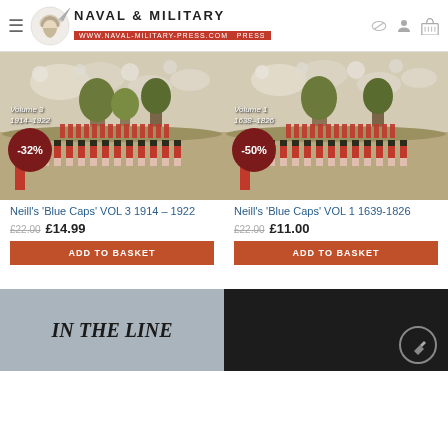Naval & Military Press | www.naval-military-press.com
[Figure (photo): Product image: Neill's Blue Caps VOL 3 1914-1922, painting of military soldiers marching, with -32% discount badge]
Neill's 'Blue Caps' VOL 3 1914 – 1922
£22.00  £14.99
ADD TO BASKET
[Figure (photo): Product image: Neill's Blue Caps VOL 1 1639-1826, painting of military soldiers marching, with -50% discount badge]
Neill's 'Blue Caps' VOL 1 1639-1826
£22.00  £11.00
ADD TO BASKET
[Figure (photo): Bottom left: 'IN THE LINE' text on grey background]
[Figure (photo): Bottom right: dark book cover image with circular icon]